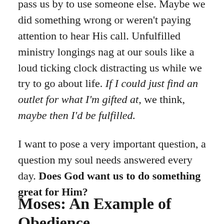pass us by to use someone else. Maybe we did something wrong or weren't paying attention to hear His call. Unfulfilled ministry longings nag at our souls like a loud ticking clock distracting us while we try to go about life. If I could just find an outlet for what I'm gifted at, we think, maybe then I'd be fulfilled.
I want to pose a very important question, a question my soul needs answered every day. Does God want us to do something great for Him?
Moses: An Example of Obedience